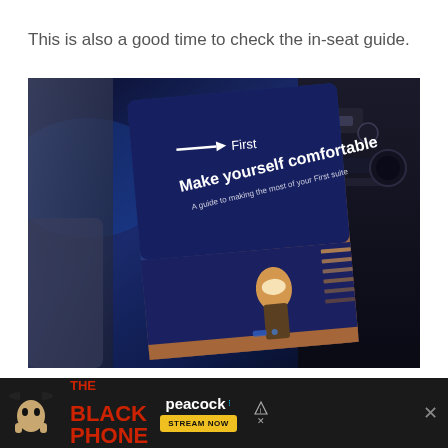This is also a good time to check the in-seat guide.
[Figure (photo): Photo of a British Airways First Class in-seat guide booklet with dark blue cover reading 'First – Make yourself comfortable. A guide to making the most of your First suite', propped up in an airplane First Class suite seat with ambient blue lighting and an illuminated reading light visible in lower portion.]
[Figure (other): Advertisement banner for 'The Black Phone' on Peacock streaming service, with a dark background, red bold text for 'The Black Phone', Peacock logo with colored dots, and a yellow 'Stream Now' button. A close button (×) is visible on the right.]